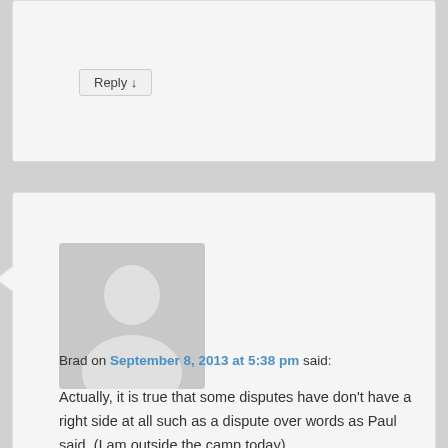Reply ↓
[Figure (illustration): Grey avatar placeholder showing a person silhouette (head and shoulders)]
Brad on September 8, 2013 at 5:38 pm said:
Actually, it is true that some disputes have don't have a right side at all such as a dispute over words as Paul said. (I am outside the camp today)
Reply ↓
Leave a Reply
Your email address will not be published. Required